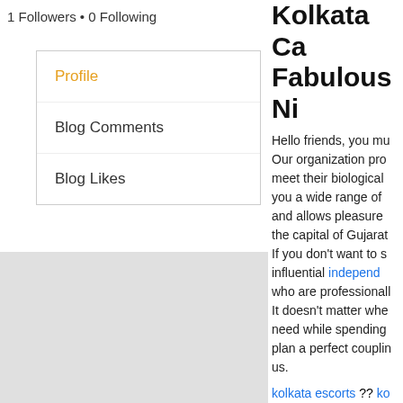1 Followers • 0 Following
Profile
Blog Comments
Blog Likes
Kolkata Cal... Fabulous Ni...
Hello friends, you mu... Our organization pro... meet their biological... you a wide range of... and allows pleasure... the capital of Gujarat... If you don't want to s... influential independent... who are professionalh... It doesn't matter whe... need while spending... plan a perfect couplin... us.
kolkata escorts ?? ko... kolkata?? kolkata ca... kolkata escorts Near... street escorts ?? par... bidhan escorts ?? ho... new town escorts ??
Best Kolkata...